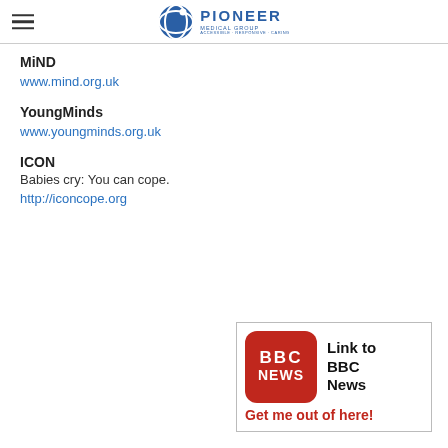Pioneer Medical Group
MIND
www.mind.org.uk
YoungMinds
www.youngminds.org.uk
ICON
Babies cry: You can cope.
http://iconcope.org
[Figure (logo): BBC News logo with text 'Link to BBC News' and 'Get me out of here!' call to action button]